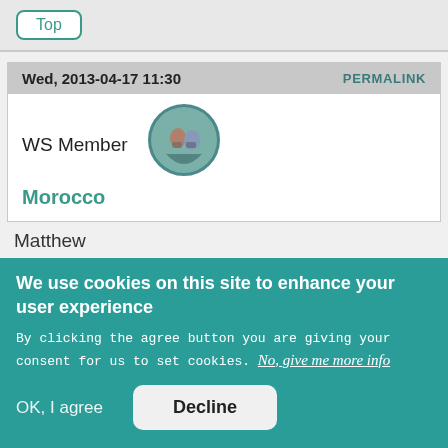[Figure (other): Top navigation button with teal border labeled 'Top']
Wed, 2013-04-17 11:30
PERMALINK
[Figure (photo): Circular avatar photo of two people]
WS Member
Morocco
Matthew
We use cookies on this site to enhance your user experience
By clicking the agree button you are giving your consent for us to set cookies. No, give me more info
OK, I agree
Decline